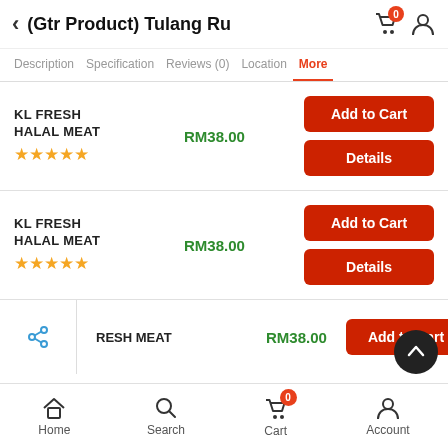(Gtr Product) Tulang Ru
Description | Specification | Reviews (0) | Location | More
| Product | Price | Actions |
| --- | --- | --- |
| KL FRESH HALAL MEAT ★★★★★ | RM38.00 | Add to Cart | Details |
| KL FRESH HALAL MEAT ★★★★★ | RM38.00 | Add to Cart | Details |
| RESH MEAT | RM38.00 | Add to Cart |
Home | Search | Cart | Account